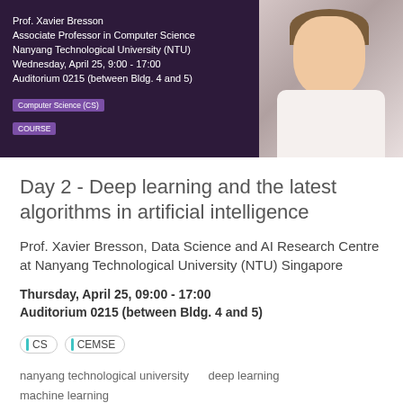[Figure (photo): Banner with purple/dark background showing Prof. Xavier Bresson's name, title, and event details on the left, and a photo of a smiling man in white shirt on the right. Badges: Computer Science (CS) and COURSE.]
Day 2 - Deep learning and the latest algorithms in artificial intelligence
Prof. Xavier Bresson, Data Science and AI Research Centre at Nanyang Technological University (NTU) Singapore
Thursday, April 25, 09:00 - 17:00
Auditorium 0215 (between Bldg. 4 and 5)
CS   CEMSE
nanyang technological university    deep learning
machine learning
Course